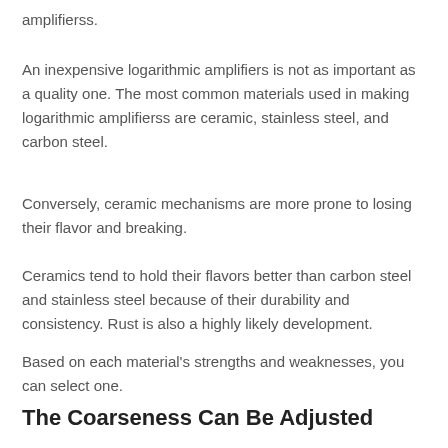amplifierss.
An inexpensive logarithmic amplifiers is not as important as a quality one. The most common materials used in making logarithmic amplifierss are ceramic, stainless steel, and carbon steel.
Conversely, ceramic mechanisms are more prone to losing their flavor and breaking.
Ceramics tend to hold their flavors better than carbon steel and stainless steel because of their durability and consistency. Rust is also a highly likely development.
Based on each material's strengths and weaknesses, you can select one.
The Coarseness Can Be Adjusted